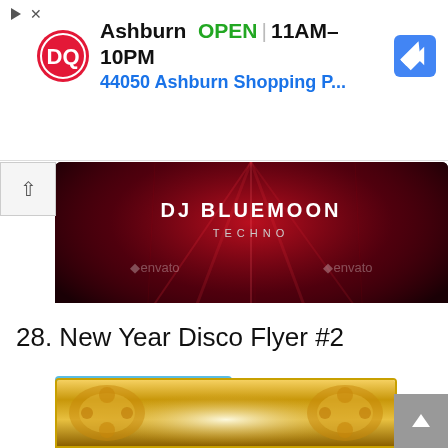[Figure (screenshot): Dairy Queen advertisement banner showing DQ logo, Ashburn location OPEN 11AM-10PM, address 44050 Ashburn Shopping P..., navigation icon, with play and close controls]
[Figure (photo): Dark red nightclub scene with DJ Bluemoon Techno text and envato watermarks, crowd and stage lights visible]
Download
28. New Year Disco Flyer #2
[Figure (photo): Gold ornate decorative frame with bright light in the center, partial view of New Year Disco Flyer]